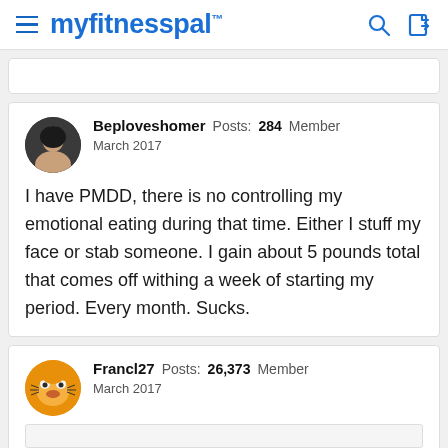myfitnesspal
Beploveshomer Posts: 284 Member
March 2017

I have PMDD, there is no controlling my emotional eating during that time. Either I stuff my face or stab someone. I gain about 5 pounds total that comes off withing a week of starting my period. Every month. Sucks.
Francl27 Posts: 26,373 Member
March 2017